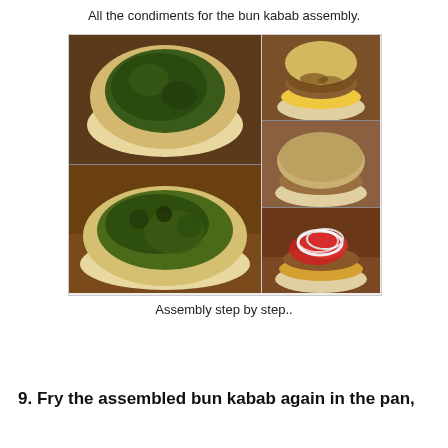All the condiments for the bun kabab assembly.
[Figure (photo): A collage of 5 food photos showing bun kabab assembly steps: top-left shows an open bun with green chutney spread, bottom-left shows another bun half with green chutney, top-right shows a bun with kabab patty and egg layer, middle-right shows the bun closed on top of the assembled layers, bottom-right shows the open bun assembly with tomato and onion rings on a wooden surface.]
Assembly step by step..
9. Fry the assembled bun kabab again in the pan,